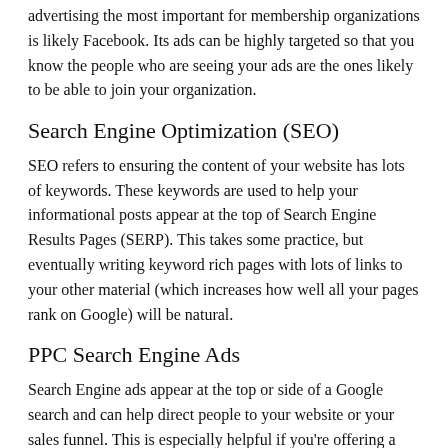advertising the most important for membership organizations is likely Facebook. Its ads can be highly targeted so that you know the people who are seeing your ads are the ones likely to be able to join your organization.
Search Engine Optimization (SEO)
SEO refers to ensuring the content of your website has lots of keywords. These keywords are used to help your informational posts appear at the top of Search Engine Results Pages (SERP). This takes some practice, but eventually writing keyword rich pages with lots of links to your other material (which increases how well all your pages rank on Google) will be natural.
PPC Search Engine Ads
Search Engine ads appear at the top or side of a Google search and can help direct people to your website or your sales funnel. This is especially helpful if you're offering a special piece of information, like a manual or an infographic of tips to people who sign up.